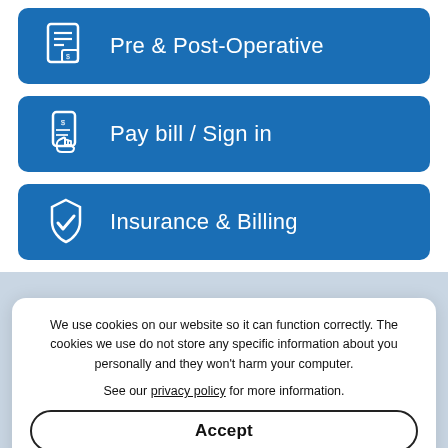Pre & Post-Operative
Pay bill / Sign in
Insurance & Billing
[Figure (screenshot): Bottom background section with 'OVERLAND PARK' watermark text and address details for a medical facility in Overland Park, Kansas 66211, phone (913) 381-5225]
We use cookies on our website so it can function correctly. The cookies we use do not store any specific information about you personally and they won't harm your computer.
See our privacy policy for more information.
Accept